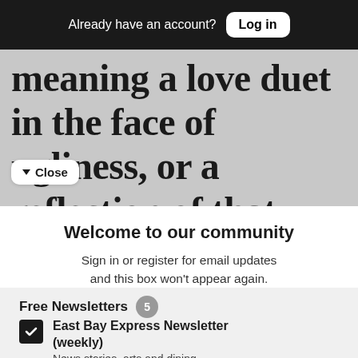Already have an account? Log in
meaning a love duet in the face of ugliness, or a reflection of that
Close
Welcome to our community
Sign in or register for email updates and this box won't appear again. We're grateful for your support.
By registering you confirm you are 21+.
Free Newsletters 5
East Bay Express Newsletter (weekly)
News stories, arts and dining